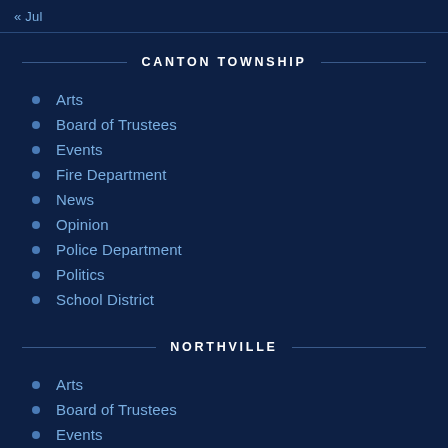« Jul
CANTON TOWNSHIP
Arts
Board of Trustees
Events
Fire Department
News
Opinion
Police Department
Politics
School District
NORTHVILLE
Arts
Board of Trustees
Events